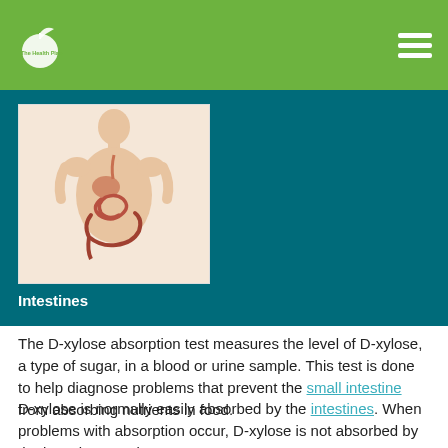The Health Plan
[Figure (illustration): Anatomical illustration of a human torso showing the digestive system including esophagus, stomach, and intestines, with caption 'Intestines']
The D-xylose absorption test measures the level of D-xylose, a type of sugar, in a blood or urine sample. This test is done to help diagnose problems that prevent the small intestine from absorbing nutrients in food.
D-xylose is normally easily absorbed by the intestines. When problems with absorption occur, D-xylose is not absorbed by the intestines, and